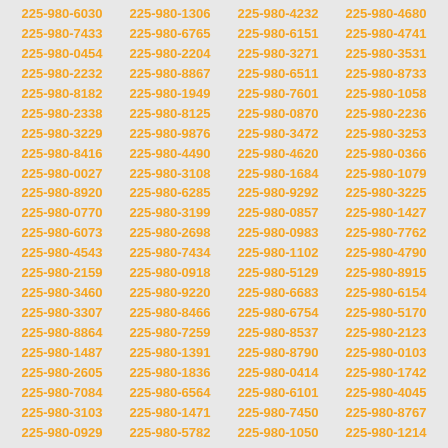| 225-980-6030 | 225-980-1306 | 225-980-4232 | 225-980-4680 |
| 225-980-7433 | 225-980-6765 | 225-980-6151 | 225-980-4741 |
| 225-980-0454 | 225-980-2204 | 225-980-3271 | 225-980-3531 |
| 225-980-2232 | 225-980-8867 | 225-980-6511 | 225-980-8733 |
| 225-980-8182 | 225-980-1949 | 225-980-7601 | 225-980-1058 |
| 225-980-2338 | 225-980-8125 | 225-980-0870 | 225-980-2236 |
| 225-980-3229 | 225-980-9876 | 225-980-3472 | 225-980-3253 |
| 225-980-8416 | 225-980-4490 | 225-980-4620 | 225-980-0366 |
| 225-980-0027 | 225-980-3108 | 225-980-1684 | 225-980-1079 |
| 225-980-8920 | 225-980-6285 | 225-980-9292 | 225-980-3225 |
| 225-980-0770 | 225-980-3199 | 225-980-0857 | 225-980-1427 |
| 225-980-6073 | 225-980-2698 | 225-980-0983 | 225-980-7762 |
| 225-980-4543 | 225-980-7434 | 225-980-1102 | 225-980-4790 |
| 225-980-2159 | 225-980-0918 | 225-980-5129 | 225-980-8915 |
| 225-980-3460 | 225-980-9220 | 225-980-6683 | 225-980-6154 |
| 225-980-3307 | 225-980-8466 | 225-980-6754 | 225-980-5170 |
| 225-980-8864 | 225-980-7259 | 225-980-8537 | 225-980-2123 |
| 225-980-1487 | 225-980-1391 | 225-980-8790 | 225-980-0103 |
| 225-980-2605 | 225-980-1836 | 225-980-0414 | 225-980-1742 |
| 225-980-7084 | 225-980-6564 | 225-980-6101 | 225-980-4045 |
| 225-980-3103 | 225-980-1471 | 225-980-7450 | 225-980-8767 |
| 225-980-0929 | 225-980-5782 | 225-980-1050 | 225-980-1214 |
| 225-980-2100 | 225-980-8324 | 225-980-5629 | 225-980-6238 |
| 225-980-5023 | 225-980-1230 | 225-980-2065 | 225-980-6505 |
| 225-980-9129 | 225-980-7245 | 225-980-1565 | 225-980-8223 |
| 225-980-7909 | 225-980-3866 | 225-980-5852 | 225-980-6415 |
| 225-980-1626 | 225-980-5431 | 225-980-7971 | 225-980-6379 |
| 225-980-6347 | 225-980-1548 | 225-980-9663 | 225-980-2670 |
| 225-980-7348 | 225-980-2911 | 225-980-4157 | 225-980-9574 |
| 225-980-9905 | 225-980-7017 | 225-980-1094 | 225-980-8022 |